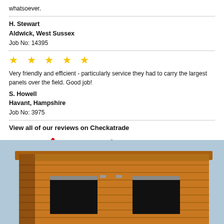whatsoever.
H. Stewart
Aldwick, West Sussex
Job No: 14395
[Figure (other): Five yellow star rating]
Very friendly and efficient - particularly service they had to carry the largest panels over the field. Good job!
S. Howell
Havant, Hampshire
Job No: 3975
View all of our reviews on Checkatrade
[Figure (logo): Checkatrade Registered logo - red and blue text with checkmark graphic]
[Figure (photo): Wooden garden shed with flat roof, two windows visible, tongue and groove timber cladding, honey/orange stained finish]